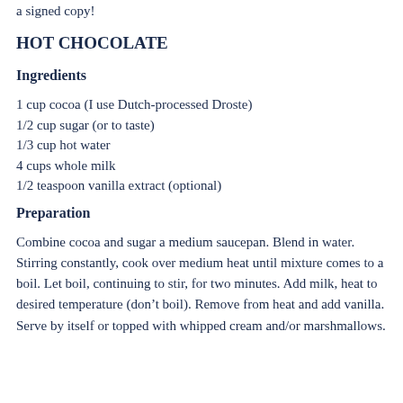a signed copy!
HOT CHOCOLATE
Ingredients
1 cup cocoa (I use Dutch-processed Droste)
1/2 cup sugar (or to taste)
1/3 cup hot water
4 cups whole milk
1/2 teaspoon vanilla extract (optional)
Preparation
Combine cocoa and sugar a medium saucepan. Blend in water. Stirring constantly, cook over medium heat until mixture comes to a boil. Let boil, continuing to stir, for two minutes. Add milk, heat to desired temperature (don’t boil). Remove from heat and add vanilla. Serve by itself or topped with whipped cream and/or marshmallows.